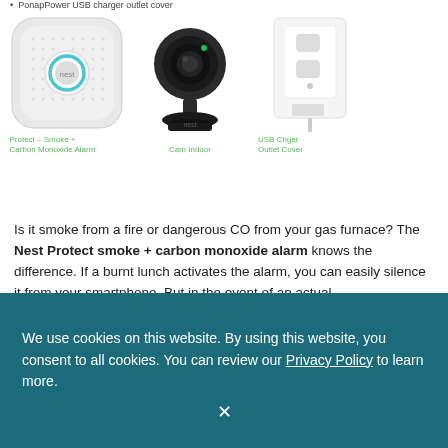PonapPower USB charger outlet cover
[Figure (photo): Three Nest smart home products arranged in a row: Nest Protect smoke + carbon monoxide alarm (white rounded square device), Nest Cam Indoor (black security camera on stand), and USB Charger Outlet Cover (white wall outlet with USB ports)]
Protect - Smoke + Carbon Monoxide Alarm
Cam Indoor
USB Chger Outlet Cover
Is it smoke from a fire or dangerous CO from your gas furnace? The Nest Protect smoke + carbon monoxide alarm knows the difference. If a burnt lunch activates the alarm, you can easily silence it from your smartphone. But in the event of an actual
We use cookies on this website. By using this website, you consent to all cookies. You can review our Privacy Policy to learn more.